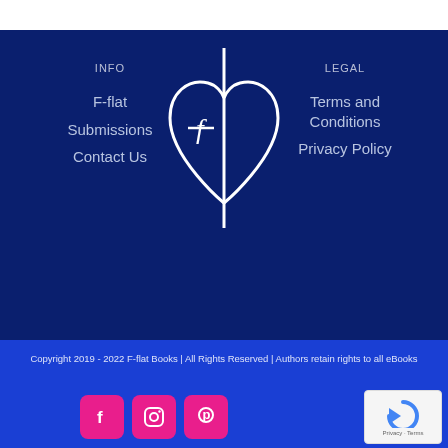INFO
F-flat
Submissions
Contact Us
[Figure (logo): F-flat Books logo: white heart shape with a vertical line and stylized f-flat musical note symbol]
LEGAL
Terms and Conditions
Privacy Policy
Copyright 2019 - 2022 F-flat Books | All Rights Reserved | Authors retain rights to all eBooks
[Figure (logo): Social media icons row: Facebook, Instagram, Pinterest — pink rounded square buttons]
[Figure (logo): Google reCAPTCHA badge with blue arrow logo, Privacy and Terms text]